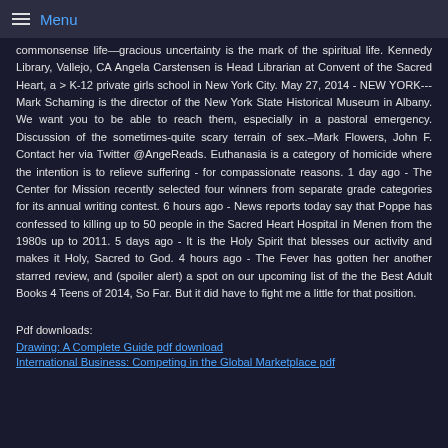Menu
commonsense life—gracious uncertainty is the mark of the spiritual life. Kennedy Library, Vallejo, CA Angela Carstensen is Head Librarian at Convent of the Sacred Heart, a > K-12 private girls school in New York City. May 27, 2014 - NEW YORK---Mark Schaming is the director of the New York State Historical Museum in Albany. We want you to be able to reach them, especially in a pastoral emergency. Discussion of the sometimes-quite scary terrain of sex.–Mark Flowers, John F. Contact her via Twitter @AngeReads. Euthanasia is a category of homicide where the intention is to relieve suffering - for compassionate reasons. 1 day ago - The Center for Mission recently selected four winners from separate grade categories for its annual writing contest. 6 hours ago - News reports today say that Poppe has confessed to killing up to 50 people in the Sacred Heart Hospital in Menen from the 1980s up to 2011. 5 days ago - It is the Holy Spirit that blesses our activity and makes it Holy, Sacred to God. 4 hours ago - The Fever has gotten her another starred review, and (spoiler alert) a spot on our upcoming list of the the Best Adult Books 4 Teens of 2014, So Far. But it did have to fight me a little for that position.
Pdf downloads:
Drawing: A Complete Guide pdf download
International Business: Competing in the Global Marketplace pdf